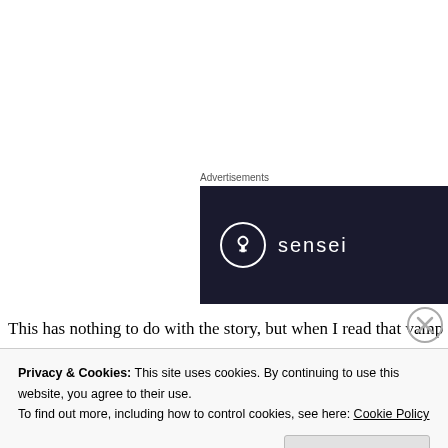Advertisements
[Figure (logo): Sensei logo on dark navy background with circular tree icon and the text 'sensei']
This has nothing to do with the story, but when I read that vamp called Deadly Smiles, I laughed. You can pick this up as 6 separ the complete collection like I did. Exciting and lots of fun. I cou
Check it out on Amazon
Privacy & Cookies: This site uses cookies. By continuing to use this website, you agree to their use.
To find out more, including how to control cookies, see here: Cookie Policy
Close and accept